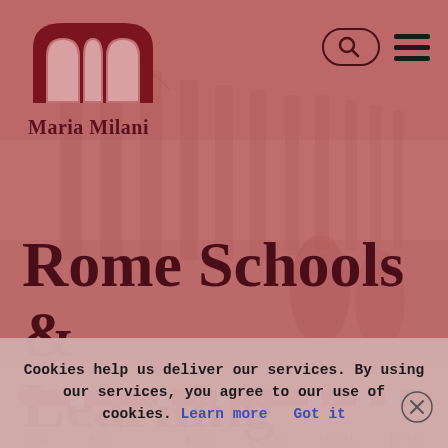[Figure (logo): Maria Milani logo with stylized 'M' arch icon and text 'Maria Milani' below]
[Figure (illustration): Background illustration of ancient Roman columns and street scene, tinted in red/rose tones]
Rome Schools & Learning
[Figure (infographic): Horizontal timeline bar with segments from 900BC to 1871AD, labeled: 900BC, 753BC, 0, 476AD, 1456AD, 1600AD, 1871AD]
Cookies help us deliver our services. By using our services, you agree to our use of cookies. Learn more  Got it